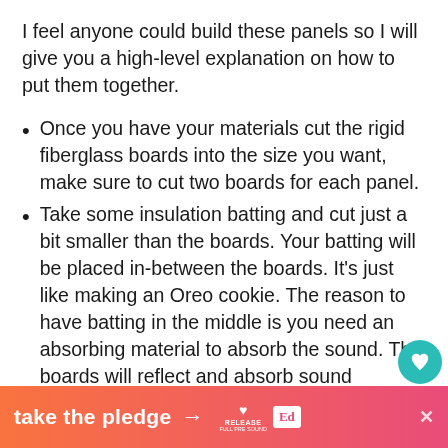I feel anyone could build these panels so I will give you a high-level explanation on how to put them together.
Once you have your materials cut the rigid fiberglass boards into the size you want, make sure to cut two boards for each panel.
Take some insulation batting and cut just a bit smaller than the boards. Your batting will be placed in-between the boards. It's just like making an Oreo cookie. The reason to have batting in the middle is you need an absorbing material to absorb the sound. The boards will reflect and absorb sound...
take the pledge →